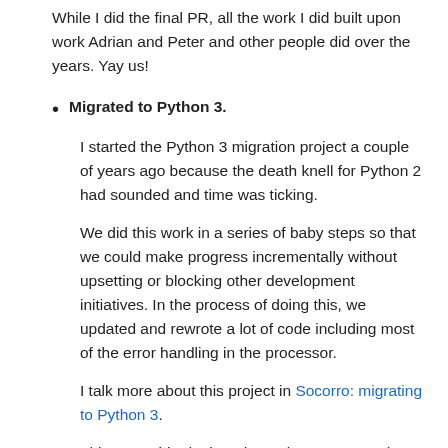While I did the final PR, all the work I did built upon work Adrian and Peter and other people did over the years. Yay us!
Migrated to Python 3.
I started the Python 3 migration project a couple of years ago because the death knell for Python 2 had sounded and time was ticking.
We did this work in a series of baby steps so that we could make progress incrementally without upsetting or blocking other development initiatives. In the process of doing this, we updated and rewrote a lot of code including most of the error handling in the processor.
I talk more about this project in Socorro: migrating to Python 3.
This was a big deal. Python 3 is sooooo much easier